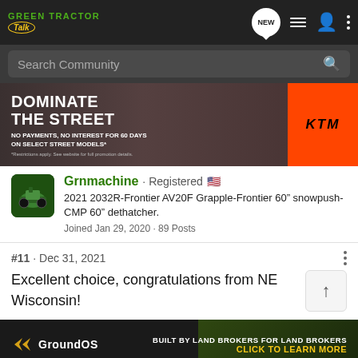Green Tractor Talk - Navigation bar with logo, NEW, list, user, and menu icons
Search Community
[Figure (photo): KTM motorcycle advertisement: DOMINATE THE STREET - NO PAYMENTS, NO INTEREST FOR 60 DAYS ON SELECT STREET MODELS* with KTM logo on orange background]
Grnmachine · Registered 🇺🇸
2021 2032R-Frontier AV20F Grapple-Frontier 60" snowpush-CMP 60" dethatcher.
Joined Jan 29, 2020 · 89 Posts
#11 · Dec 31, 2021
Excellent choice, congratulations from NE Wisconsin!
[Figure (photo): GroundOS advertisement: BUILT BY LAND BROKERS FOR LAND BROKERS - CLICK TO LEARN MORE with GroundOS logo and forest/field background]